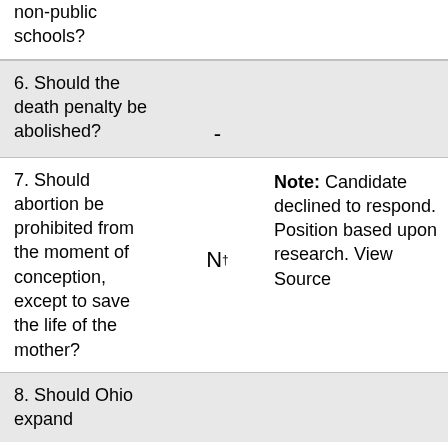non-public schools?
| Question | Answer | Note |
| --- | --- | --- |
| 6. Should the death penalty be abolished? | - |  |
| 7. Should abortion be prohibited from the moment of conception, except to save the life of the mother? | N† | Note: Candidate declined to respond. Position based upon research. View Source |
| 8. Should Ohio expand... |  |  |